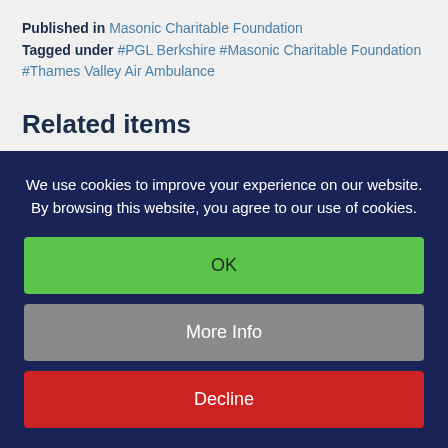Published in  Masonic Charitable Foundation
Tagged under  #PGL Berkshire  #Masonic Charitable Foundation  #Thames Valley Air Ambulance
Related items
Wheelbarrows and wet sponges work wonders for Freemasons' fundraising
(partial, clipped)
We use cookies to improve your experience on our website. By browsing this website, you agree to our use of cookies.
OK
More Info
Decline